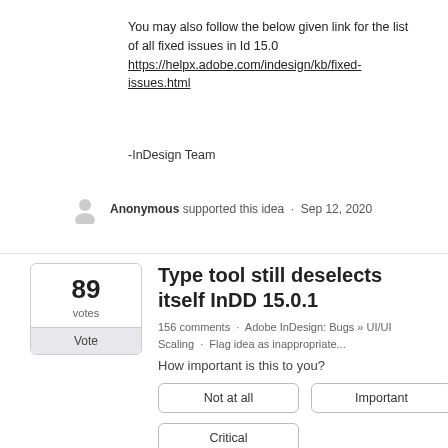You may also follow the below given link for the list of all fixed issues in Id 15.0
https://helpx.adobe.com/indesign/kb/fixed-issues.html
-InDesign Team
Anonymous supported this idea · Sep 12, 2020
Type tool still deselects itself InDD 15.0.1
156 comments · Adobe InDesign: Bugs » UI/UI Scaling · Flag idea as inappropriate...
How important is this to you?
Not at all
Important
Critical